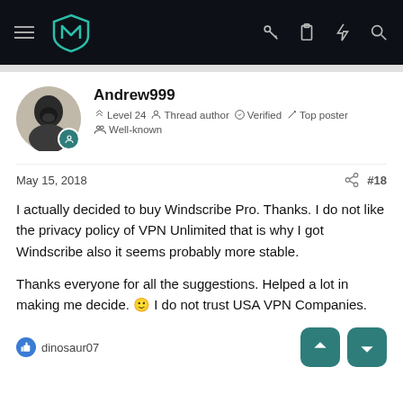Navbar with hamburger menu, logo, and icons (key, clipboard, lightning, search)
Andrew999
🏆 Level 24  👤 Thread author  ✓ Verified  ✏️ Top poster
👥 Well-known
May 15, 2018  #18
I actually decided to buy Windscribe Pro. Thanks. I do not like the privacy policy of VPN Unlimited that is why I got Windscribe also it seems probably more stable.

Thanks everyone for all the suggestions. Helped a lot in making me decide. 🙂 I do not trust USA VPN Companies.
👍 dinosaur07